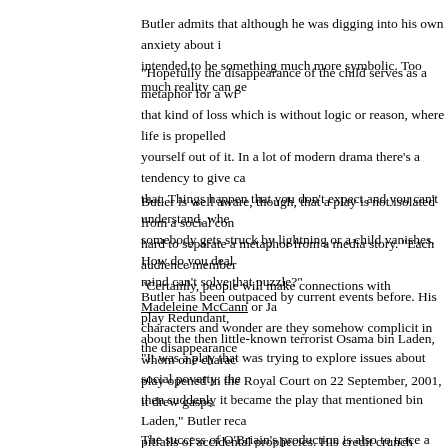Butler admits that although he was digging into his own anxiety about i... intended to be something much more symbolic. Too much reality can ge...
“Hopefully the disappearance of the child serves as a metaphor for a wi... that kind of loss which is without logic or reason, where life is propelled... yourself out of it. In a lot of modern drama there’s a tendency to give ca... that. Things happen that you don’t expect and you can’t understand, whe... somebody gets struck by lightning or a child vanishes. How do you dea... mind can’t solve that puzzle?”
Butler is well aware, though, that a play is not isolated from a social co... hard to separate a metaphor from a media story. “Each audience membe... “Certainly, people will make connections with Madeleine McCann or Ja... characters and wonder are they somehow complicit in the disappearance...
Butler has been outpaced by current events before. His play Redundant,... about the then little-known terrorist Osama bin Laden, whom one chara... play opened in the Royal Court on 22 September, 2001, it drew gasps.
“It was a play that was trying to explore issues about social poverty: the... then suddenly it became the play that mentioned bin Laden,” Butler reca... pitfalls of accidental prophecies. His credit crunch drama, Face in the Cr... Northern Rock, and when he wrote a line in Lucky Dog in which a chara... come summer”, he spent months coming up to production worrying that... who depicts a world without causation or reason whose work is so shape...
The success of O’Briain’s production is also to trace a path through tha...